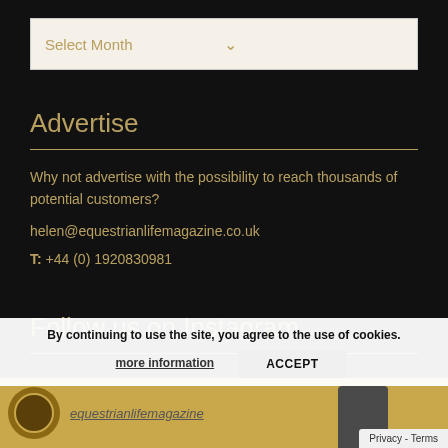Select Month
Advertise
Why not advertise with the possibility to reach thousands of potential customers?
helen@equestrianlifemagazine.co.uk
T: +44 (0) 1920830981
Follow us on Instagram
equestrianlifemagazine
By continuing to use the site, you agree to the use of cookies.
more information
ACCEPT
Privacy - Terms